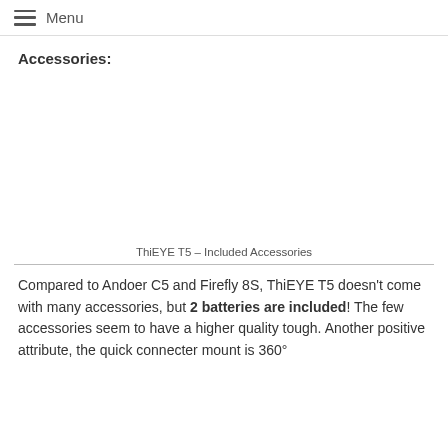Menu
Accessories:
[Figure (photo): ThiEYE T5 included accessories photo (blank/white area in this rendering)]
ThiEYE T5 – Included Accessories
Compared to Andoer C5 and Firefly 8S, ThiEYE T5 doesn't come with many accessories, but 2 batteries are included! The few accessories seem to have a higher quality tough. Another positive attribute, the quick connecter mount is 360°